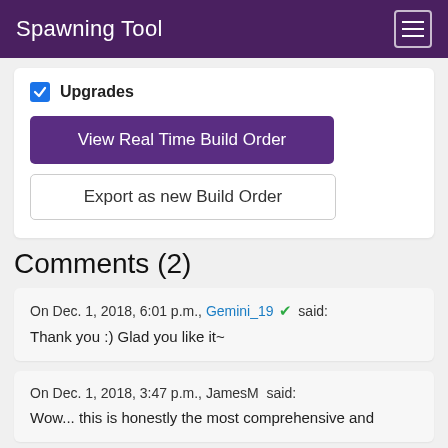Spawning Tool
Upgrades
View Real Time Build Order
Export as new Build Order
Comments (2)
On Dec. 1, 2018, 6:01 p.m., Gemini_19 ✔ said:
Thank you :) Glad you like it~
On Dec. 1, 2018, 3:47 p.m., JamesM  said:
Wow... this is honestly the most comprehensive and